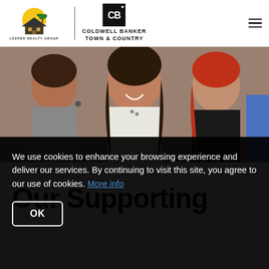[Figure (logo): Leeper Realty Group logo with house and palm tree, beside Coldwell Banker Town & Country logo]
[Figure (photo): Close-up photo of smiling women, group of people]
Our Supporting
We use cookies to enhance your browsing experience and deliver our services. By continuing to visit this site, you agree to our use of cookies. More info
OK